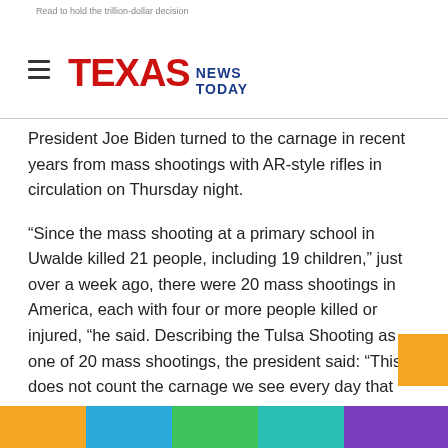Read to hold the trillion-dollar decision
[Figure (logo): Texas News Today logo with hamburger menu icon]
President Joe Biden turned to the carnage in recent years from mass shootings with AR-style rifles in circulation on Thursday night.
“Since the mass shooting at a primary school in Uwalde killed 21 people, including 19 children,” just over a week ago, there were 20 mass shootings in America, each with four or more people killed or injured, “he said. Describing the Tulsa Shooting as one of 20 mass shootings, the president said: “This does not count the carnage we see every day that does not make the headlines.
Lewis was carrying a letter saying he was targeting Phillips